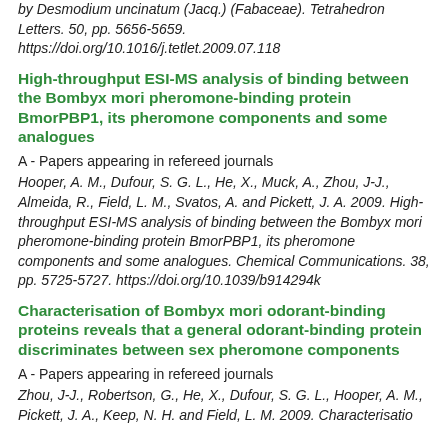by Desmodium uncinatum (Jacq.) (Fabaceae). Tetrahedron Letters. 50, pp. 5656-5659. https://doi.org/10.1016/j.tetlet.2009.07.118
High-throughput ESI-MS analysis of binding between the Bombyx mori pheromone-binding protein BmorPBP1, its pheromone components and some analogues
A - Papers appearing in refereed journals
Hooper, A. M., Dufour, S. G. L., He, X., Muck, A., Zhou, J-J., Almeida, R., Field, L. M., Svatos, A. and Pickett, J. A. 2009. High-throughput ESI-MS analysis of binding between the Bombyx mori pheromone-binding protein BmorPBP1, its pheromone components and some analogues. Chemical Communications. 38, pp. 5725-5727. https://doi.org/10.1039/b914294k
Characterisation of Bombyx mori odorant-binding proteins reveals that a general odorant-binding protein discriminates between sex pheromone components
A - Papers appearing in refereed journals
Zhou, J-J., Robertson, G., He, X., Dufour, S. G. L., Hooper, A. M., Pickett, J. A., Keep, N. H. and Field, L. M. 2009. Characterisatio